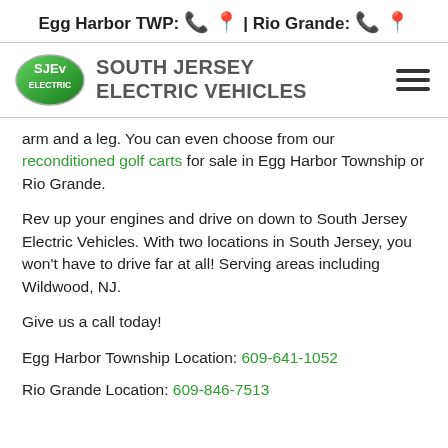Egg Harbor TWP: [phone icon] [location icon] | Rio Grande: [phone icon] [location icon]
[Figure (logo): South Jersey Electric Vehicles logo with green oval SJEV emblem and company name text, plus hamburger menu icon]
arm and a leg. You can even choose from our reconditioned golf carts for sale in Egg Harbor Township or Rio Grande.
Rev up your engines and drive on down to South Jersey Electric Vehicles. With two locations in South Jersey, you won't have to drive far at all! Serving areas including Wildwood, NJ.
Give us a call today!
Egg Harbor Township Location: 609-641-1052
Rio Grande Location: 609-846-7513